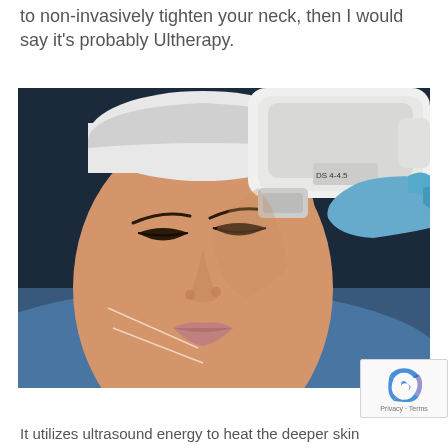to non-invasively tighten your neck, then I would say it's probably Ultherapy.
[Figure (photo): A woman lying down with eyes closed receiving an Ultherapy treatment. A white medical device with a transducer (labeled DS 4-4.5) is being applied to her face by a gloved hand. White treatment guide lines are drawn on her face/neck area. She is wearing a white head covering and resting on a blue surface.]
It utilizes ultrasound energy to heat the deeper skin